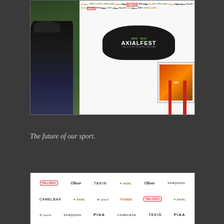[Figure (photo): Man speaking at Axialfest 2005-2012 event in Oso Grove, California, standing in front of a large sponsor banner with multiple brand logos including Futaba, PIAA, CamelBak, Oliver, Axial, Vanquish, Speck, Tekin, Tru-Spec]
The future of our sport.
[Figure (photo): Close-up of sponsor step-and-repeat banner showing logos: Tru-Spec, Oliver, Tekin, Axial, Oliver, Vanquish, CamelBak, Axial, Speck, Futaba, Tru-Spec, Axial, Speck, Vanquish, PIAA, CamelBak, Tekin, PIAA]